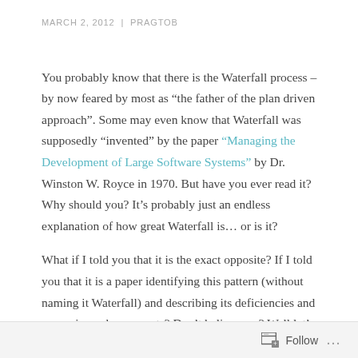MARCH 2, 2012  |  PRAGTOB
You probably know that there is the Waterfall process – by now feared by most as “the father of the plan driven approach”. Some may even know that Waterfall was supposedly “invented” by the paper “Managing the Development of Large Software Systems” by Dr. Winston W. Royce in 1970. But have you ever read it? Why should you? It’s probably just an endless explanation of how great Waterfall is… or is it?
What if I told you that it is the exact opposite? If I told you that it is a paper identifying this pattern (without naming it Waterfall) and describing its deficiencies and proposing enhancements? Don’t believe me? Well let’s see what